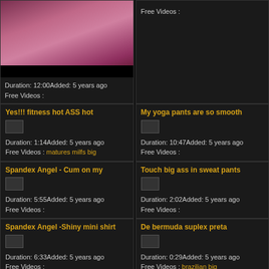[Figure (photo): Video thumbnail showing person in pink/magenta shiny outfit]
Duration: 12:00Added: 5 years ago
Free Videos :
Free Videos :
Yes!!! fitness hot ASS hot
My yoga pants are so smooth
Duration: 1:14Added: 5 years ago
Free Videos : matures milfs big
Duration: 10:47Added: 5 years ago
Free Videos :
Spandex Angel - Cum on my
Touch big ass in sweat pants
Duration: 5:55Added: 5 years ago
Free Videos :
Duration: 2:02Added: 5 years ago
Free Videos :
Spandex Angel -Shiny mini shirt
De bermuda suplex preta
Duration: 6:33Added: 5 years ago
Free Videos :
Duration: 0:29Added: 5 years ago
Free Videos : brazilian big